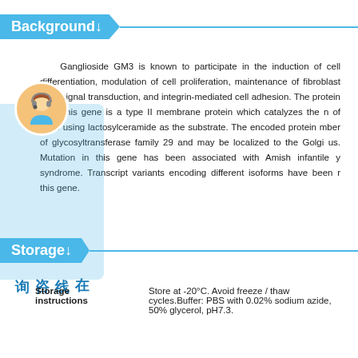Background↓
Ganglioside GM3 is known to participate in the induction of cell differentiation, modulation of cell proliferation, maintenance of fibroblast logy, signal transduction, and integrin-mediated cell adhesion. The protein d by this gene is a type II membrane protein which catalyzes the n of GM3 using lactosylceramide as the substrate. The encoded protein mber of glycosyltransferase family 29 and may be localized to the Golgi us. Mutation in this gene has been associated with Amish infantile y syndrome. Transcript variants encoding different isoforms have been r this gene.
Storage↓
| Storage instructions | Store at -20°C. Avoid freeze / thaw cycles.Buffer: PBS with 0.02% sodium azide, 50% glycerol, pH7.3. |